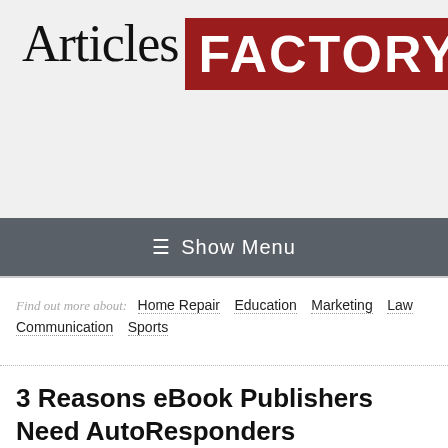[Figure (logo): Articles Factory logo with serif 'Articles' text and red box 'FACTORY' text]
≡  Show Menu
Find out more about:  Home Repair  Education  Marketing  Law  Communication  Sports
3 Reasons eBook Publishers Need AutoResponders